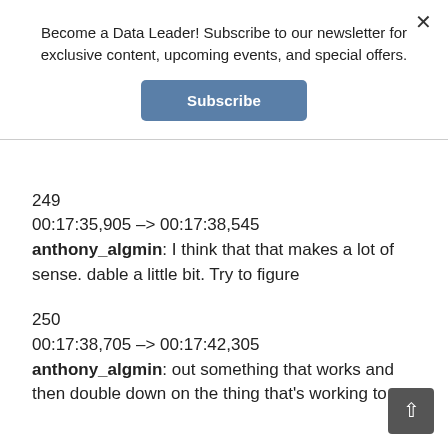Become a Data Leader! Subscribe to our newsletter for exclusive content, upcoming events, and special offers.
Subscribe
249
00:17:35,905 -> 00:17:38,545
anthony_algmin: I think that that makes a lot of sense. dable a little bit. Try to figure
250
00:17:38,705 -> 00:17:42,305
anthony_algmin: out something that works and then double down on the thing that's working to